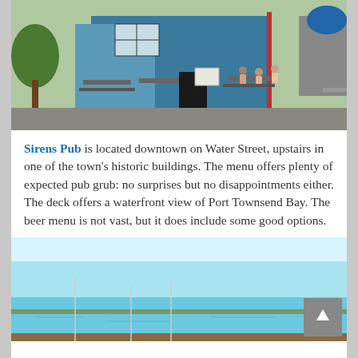[Figure (photo): Outdoor seating area of Sirens Pub with picnic tables, blue building facade, and people dining outside near a marina]
Sirens Pub is located downtown on Water Street, upstairs in one of the town's historic buildings. The menu offers plenty of expected pub grub: no surprises but no disappointments either. The deck offers a waterfront view of Port Townsend Bay. The beer menu is not vast, but it does include some good options.
[Figure (photo): Waterfront view of Port Townsend Bay with blue sky and water, partial view of boats or dock structures at bottom]